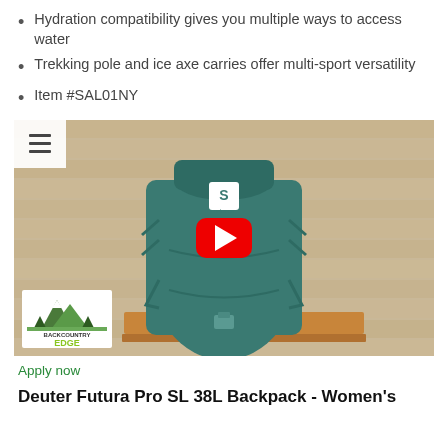Hydration compatibility gives you multiple ways to access water
Trekking pole and ice axe carries offer multi-sport versatility
Item #SAL01NY
[Figure (screenshot): Video thumbnail showing a teal Salomon backpack on a wooden surface with wood plank background, YouTube play button overlay, Backcountry Edge logo in bottom-left, and hamburger menu icon in top-left.]
Apply now
Deuter Futura Pro SL 38L Backpack - Women's